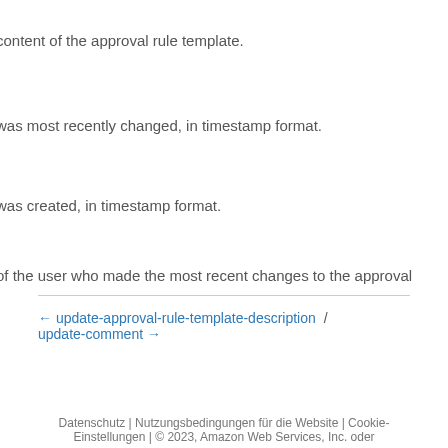content of the approval rule template.
was most recently changed, in timestamp format.
was created, in timestamp format.
of the user who made the most recent changes to the approval
← update-approval-rule-template-description / update-comment →
Datenschutz | Nutzungsbedingungen für die Website | Cookie-Einstellungen | © 2023, Amazon Web Services, Inc. oder